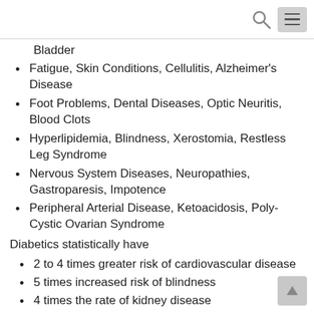[search icon] [menu icon]
Bladder
Fatigue, Skin Conditions, Cellulitis, Alzheimer's Disease
Foot Problems, Dental Diseases, Optic Neuritis, Blood Clots
Hyperlipidemia, Blindness, Xerostomia, Restless Leg Syndrome
Nervous System Diseases, Neuropathies, Gastroparesis, Impotence
Peripheral Arterial Disease, Ketoacidosis, Poly-Cystic Ovarian Syndrome
Diabetics statistically have
2 to 4 times greater risk of cardiovascular disease
5 times increased risk of blindness
4 times the rate of kidney disease
How Can We Help?